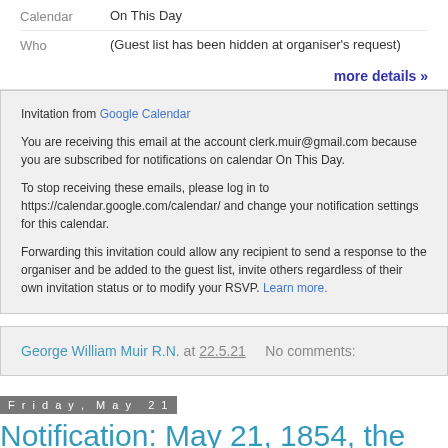| Calendar | On This Day |
| Who | (Guest list has been hidden at organiser's request) |
more details »
Invitation from Google Calendar

You are receiving this email at the account clerk.muir@gmail.com because you are subscribed for notifications on calendar On This Day.

To stop receiving these emails, please log in to https://calendar.google.com/calendar/ and change your notification settings for this calendar.

Forwarding this invitation could allow any recipient to send a response to the organiser and be added to the guest list, invite others regardless of their own invitation status or to modify your RSVP. Learn more.
George William Muir R.N. at 22.5.21    No comments:
Friday, May 21
Notification: May 21, 1854, the White Sea Squadron sailed under Commodore... @ Fri 21 May 2021 12:30